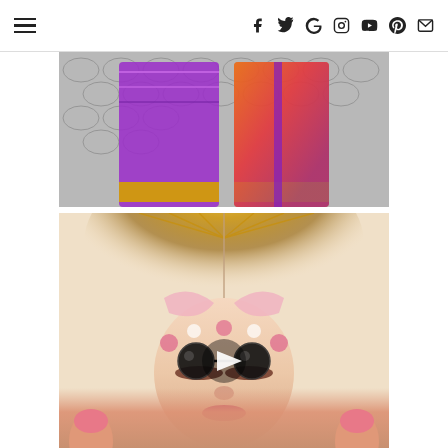Navigation menu and social icons (Facebook, Twitter, Google+, Instagram, YouTube, Pinterest, Email)
[Figure (photo): Photo of colorful Indian saree fabric (purple and orange/red) spread on cobblestone ground, viewed from above showing decorative border]
[Figure (photo): Photo of a decorative card/book being held open by hands with pink nails, featuring an ornate face with crown/halo, flowers, butterfly wings, and dark goggle-type glasses. A video play button overlay is visible in the center.]